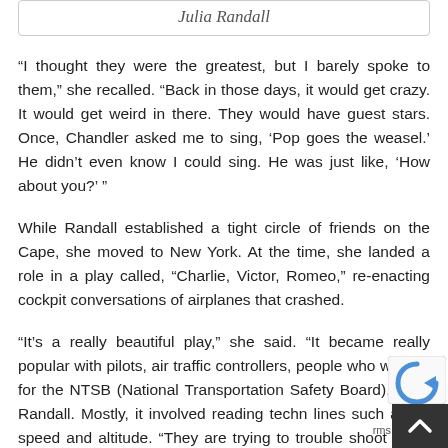Julia Randall
“I thought they were the greatest, but I barely spoke to them,” she recalled. “Back in those days, it would get crazy. It would get weird in there. They would have guest stars. Once, Chandler asked me to sing, ‘Pop goes the weasel.’ He didn’t even know I could sing. He was just like, ‘How about you?’ ”
While Randall established a tight circle of friends on the Cape, she moved to New York. At the time, she landed a role in a play called, “Charlie, Victor, Romeo,” re-enacting cockpit conversations of airplanes that crashed.
“It’s a really beautiful play,” she said. “It became really popular with pilots, air traffic controllers, people who worked for the NTSB (National Transportation Safety Board),” said Randall. Mostly, it involved reading techn… lines such as air speed and altitude. “They are trying to trouble shoot when things are nuts… it’s all about thei… training.”